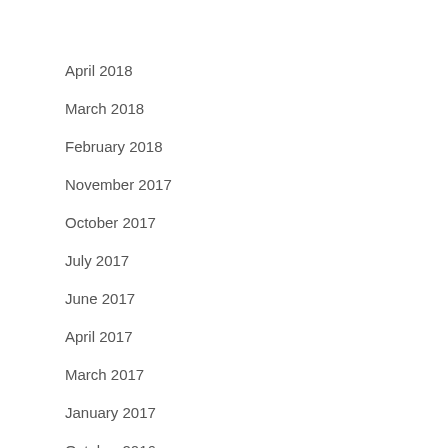April 2018
March 2018
February 2018
November 2017
October 2017
July 2017
June 2017
April 2017
March 2017
January 2017
October 2016